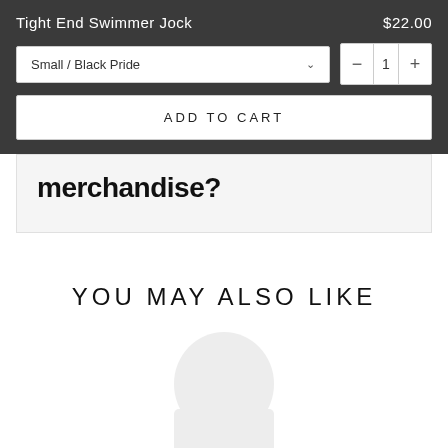Tight End Swimmer Jock
$22.00
Small / Black Pride
1
ADD TO CART
merchandise?
YOU MAY ALSO LIKE
[Figure (other): Faint ghost/watermark image of a product at bottom of page]